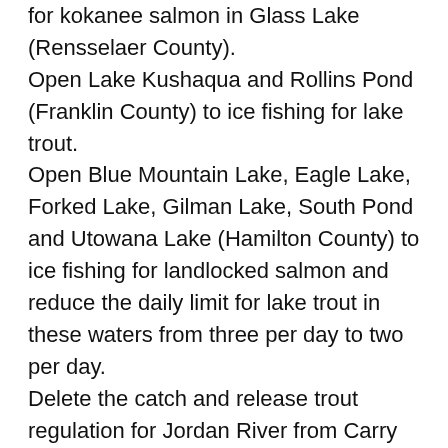for kokanee salmon in Glass Lake (Rensselaer County). Open Lake Kushaqua and Rollins Pond (Franklin County) to ice fishing for lake trout. Open Blue Mountain Lake, Eagle Lake, Forked Lake, Gilman Lake, South Pond and Utowana Lake (Hamilton County) to ice fishing for landlocked salmon and reduce the daily limit for lake trout in these waters from three per day to two per day. Delete the catch and release trout regulation for Jordan River from Carry Falls Reservoir upstream to Franklin County line (St. Lawrence County). Implement a 12-inch minimum size for brown trout in Otisco Lake (Onondaga County). Reduce the limit of rainbow trout from five to one in the western Finger Lakes and three to one in the tributaries. Western Finger Lakes include Seneca, Keuka, Canandaigua, Canadice and Hemlock lakes.